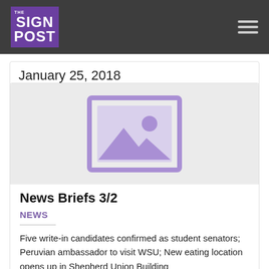THE SIGN POST
January 25, 2018
[Figure (illustration): Placeholder image icon showing a landscape with mountains and sun outline in purple on a light gray background]
News Briefs 3/2
NEWS
Five write-in candidates confirmed as student senators; Peruvian ambassador to visit WSU; New eating location opens up in Shepherd Union Building